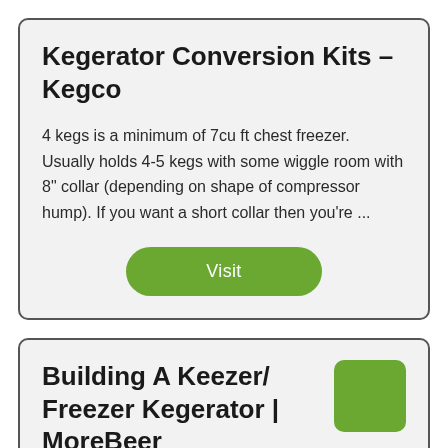Kegerator Conversion Kits - Kegco
4 kegs is a minimum of 7cu ft chest freezer. Usually holds 4-5 kegs with some wiggle room with 8" collar (depending on shape of compressor hump). If you want a short collar then you're ...
Visit
Building A Keezer/ Freezer Kegerator | MoreBeer